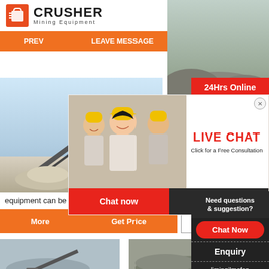[Figure (logo): Crusher Mining Equipment logo - red shopping bag icon with CRUSHER text in bold black and 'Mining Equipment' subtitle]
[Figure (infographic): Orange button bar with navigation links and Email contact button outline]
[Figure (photo): Photo of mining/crushing equipment conveyor at a quarry site, outdoor winter scene]
[Figure (photo): 24Hrs Online badge in red, overlaid on right photo of quarry/mining scene]
[Figure (infographic): Live Chat popup overlay with workers in yellow hard hats, LIVE CHAT heading in red, 'Click for a Free Consultation' text, Chat now (red) and Chat later (dark) buttons, close X button, and customer service agent photo on right]
equipment can be equipped.:::The stone crushing  ti
[Figure (infographic): Orange button bar with More and Get Price buttons, Email contact outline button]
[Figure (infographic): Sidebar CTA panel: Need questions & suggestion? Chat Now button, Enquiry section, limingjlmofen@sina.com email]
[Figure (photo): Bottom row of two mining/quarry site photos]